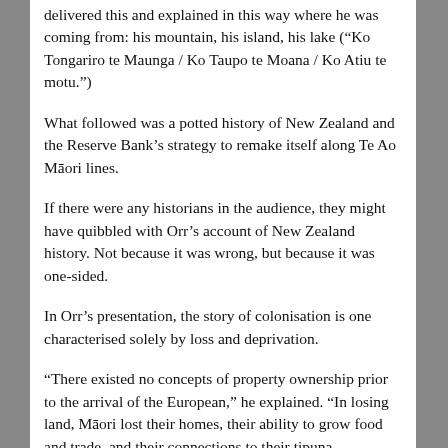delivered this and explained in this way where he was coming from: his mountain, his island, his lake (“Ko Tongariro te Maunga / Ko Taupo te Moana / Ko Atiu te motu.”)
What followed was a potted history of New Zealand and the Reserve Bank’s strategy to remake itself along Te Ao Māori lines.
If there were any historians in the audience, they might have quibbled with Orr’s account of New Zealand history. Not because it was wrong, but because it was one-sided.
In Orr’s presentation, the story of colonisation is one characterised solely by loss and deprivation.
“There existed no concepts of property ownership prior to the arrival of the European,” he explained. “In losing land, Māori lost their homes, their ability to grow food and trade, and their connections to their tipuna.